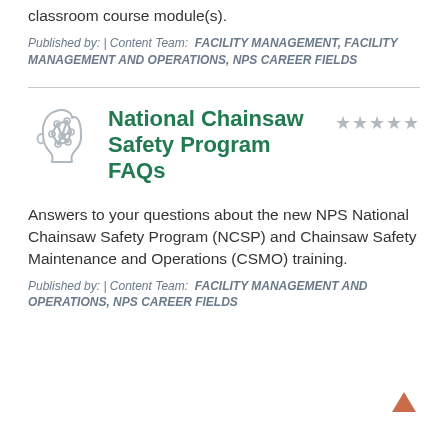classroom course module(s).
Published by: | Content Team: FACILITY MANAGEMENT, FACILITY MANAGEMENT AND OPERATIONS, NPS CAREER FIELDS
National Chainsaw Safety Program FAQs
Answers to your questions about the new NPS National Chainsaw Safety Program (NCSP) and Chainsaw Safety Maintenance and Operations (CSMO) training.
Published by: | Content Team: FACILITY MANAGEMENT AND OPERATIONS, NPS CAREER FIELDS